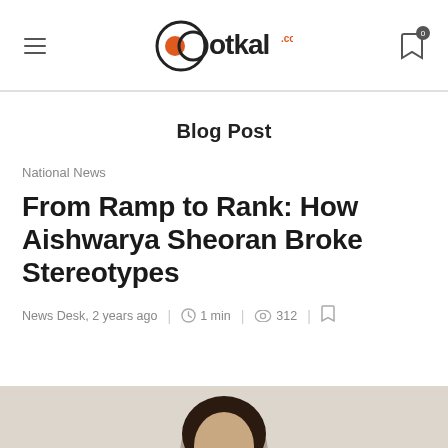ootkal.com
Blog Post
National News
From Ramp to Rank: How Aishwarya Sheoran Broke Stereotypes
News Desk, 2 years ago  1 min  312
[Figure (photo): Partial photo of Aishwarya Sheoran at the bottom of the page, cropped]